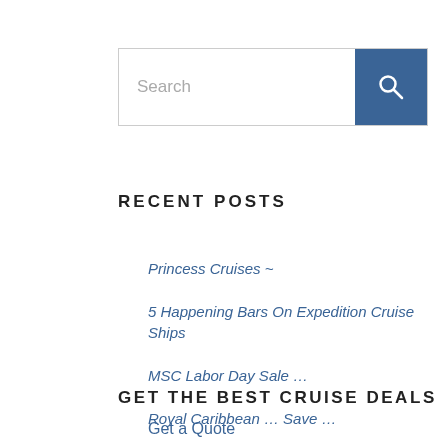[Figure (other): Search bar with text input field showing placeholder 'Search' and a blue search button with magnifying glass icon]
RECENT POSTS
Princess Cruises ~
5 Happening Bars On Expedition Cruise Ships
MSC Labor Day Sale …
Royal Caribbean … Save …
7 Extravagant Suites in Expedition Cruises – Breaking Ice, Making Way to Polar Regions
GET THE BEST CRUISE DEALS
Get a Quote